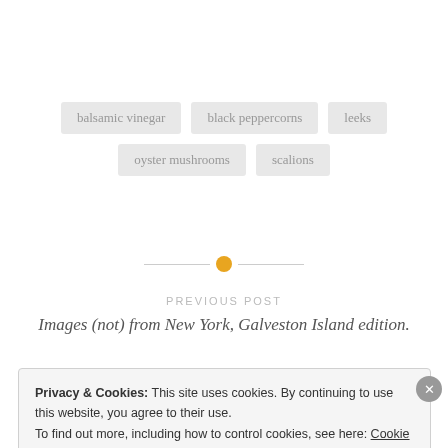balsamic vinegar
black peppercorns
leeks
oyster mushrooms
scalions
[Figure (other): Horizontal divider with orange circle dot in center]
PREVIOUS POST
Images (not) from New York, Galveston Island edition.
Privacy & Cookies: This site uses cookies. By continuing to use this website, you agree to their use.
To find out more, including how to control cookies, see here: Cookie Policy
Close and accept